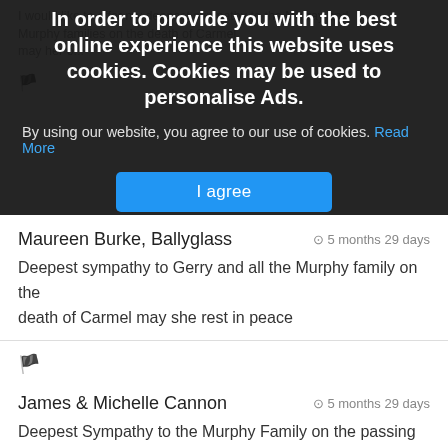[Figure (screenshot): Cookie consent overlay with dark background showing title 'In order to provide you with the best online experience this website uses cookies. Cookies may be used to personalise Ads.' with a blue 'I agree' button and 'Read More' link.]
Maureen Burke, Ballyglass
5 months 29 days
Deepest sympathy to Gerry and all the Murphy family on the death of Carmel may she rest in peace
James & Michelle Cannon
5 months 29 days
Deepest Sympathy to the Murphy Family on the passing of Carmel.